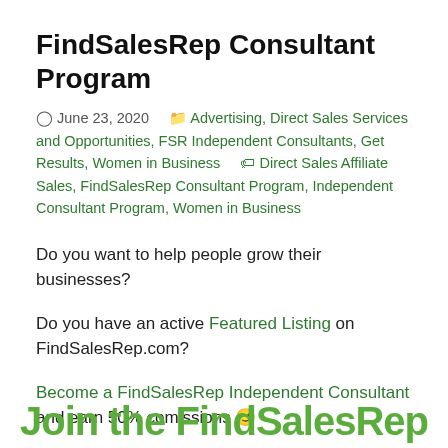FindSalesRep Consultant Program
🕐 June 23, 2020   🗂 Advertising, Direct Sales Services and Opportunities, FSR Independent Consultants, Get Results, Women in Business   🏷 Direct Sales Affiliate Sales, FindSalesRep Consultant Program, Independent Consultant Program, Women in Business
Do you want to help people grow their businesses?
Do you have an active Featured Listing on FindSalesRep.com?
Become a FindSalesRep Independent Consultant and earn 50% comissions 🙂
Join the FindSalesRep...